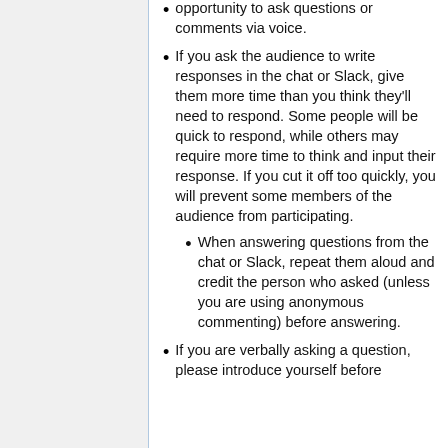opportunity to ask questions or comments via voice.
If you ask the audience to write responses in the chat or Slack, give them more time than you think they'll need to respond. Some people will be quick to respond, while others may require more time to think and input their response. If you cut it off too quickly, you will prevent some members of the audience from participating.
When answering questions from the chat or Slack, repeat them aloud and credit the person who asked (unless you are using anonymous commenting) before answering.
If you are verbally asking a question, please introduce yourself before